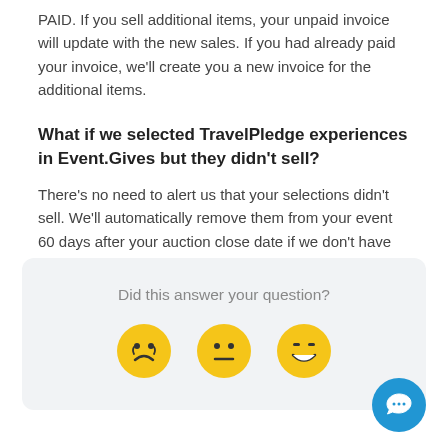PAID. If you sell additional items, your unpaid invoice will update with the new sales. If you had already paid your invoice, we'll create you a new invoice for the additional items.
What if we selected TravelPledge experiences in Event.Gives but they didn't sell?
There's no need to alert us that your selections didn't sell. We'll automatically remove them from your event 60 days after your auction close date if we don't have winning bid information.
[Figure (infographic): Feedback widget with question 'Did this answer your question?' and three emoji faces: sad, neutral, happy]